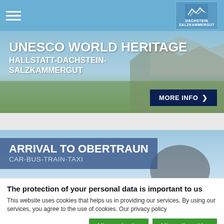[Figure (screenshot): Navigation bar with hamburger menu and Dachstein logo on blue background]
[Figure (photo): UNESCO World Heritage banner showing mountain landscape with text 'UNESCO WORLD HERITAGE HALLSTATT-DACHSTEIN-SALZKAMMERGUT' and a 'MORE INFO >' button]
[Figure (screenshot): Arrival to Obertraun banner with text 'ARRIVAL TO OBERTRAUN CAR-BUS-TRAIN-TAXI' on semi-transparent dark blue overlay over sky background]
The protection of your personal data is important to us
This website uses cookies that helps us in providing our services. By using our services, you agree to the use of cookies. Our privacy policy
Allow selection | Allow all cookies
Necessary (checked), Preferences (unchecked), Statistics (unchecked), Marketing (checked) | Show details